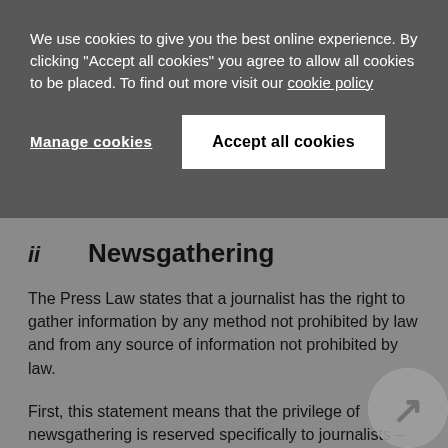We use cookies to give you the best online experience. By clicking "Accept all cookies" you agree to allow all cookies to be placed. To find out more visit our cookie policy
Manage cookies
Accept all cookies
ii  Newsgathering
The Press Law states that a journalist has the right to gather information by any method not prohibited by law and from any source of information not prohibited by law.
First, this statement means that the privilege of newsgathering is reserved specifically to journalists – persons who, in accordance with